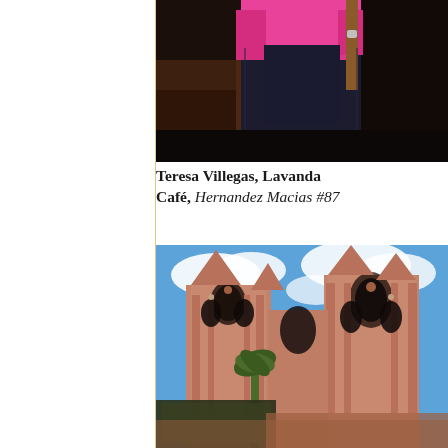[Figure (photo): Close-up photo of a person wearing a bright pink top and dark denim apron with leather straps, standing indoors with dark wooden furniture visible in background]
Teresa Villegas, Lavanda Café, Hernandez Macias #87
[Figure (photo): Exterior photo of the ornate pink stone Gothic-style towers of the Parroquia de San Miguel Arcángel church in San Miguel de Allende, Mexico, against a blue sky with white clouds, with palm trees and a decorative sign visible in the foreground]